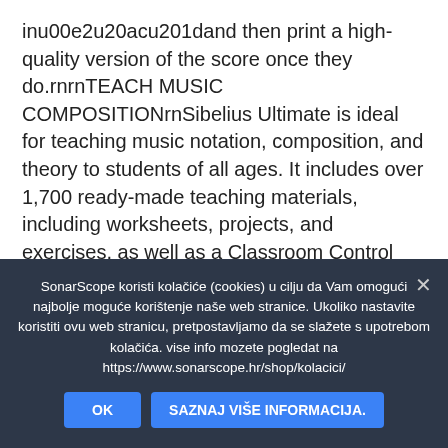inu00e2u20acu201dand then print a high-quality version of the score once they do.rnrnTEACH MUSIC COMPOSITIONrnSibelius Ultimate is ideal for teaching music notation, composition, and theory to students of all ages. It includes over 1,700 ready-made teaching materials, including worksheets, projects, and exercises, as well as a Classroom Control window to track and freeze your studentsu00e2u20acu2122 progress. In addition, Sibelius network licensing makes it easy to assign licenses to students on any computeru00e2u20acu201deven their own.rnrnFEATURES AND
SonarScope koristi kolačiće (cookies) u cilju da Vam omogući najbolje moguće korištenje naše web stranice. Ukoliko nastavite koristiti ovu web stranicu, pretpostavljamo da se slažete s upotrebom kolačića. vise info mozete pogledat na https://www.sonarscope.hr/shop/kolacici/